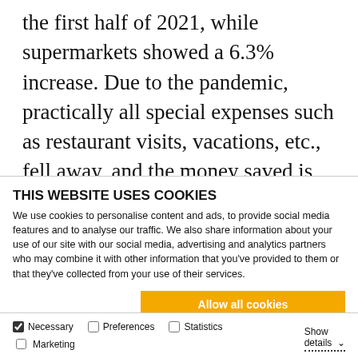the first half of 2021, while supermarkets showed a 6.3% increase. Due to the pandemic, practically all special expenses such as restaurant visits, vacations, etc., fell away, and the money saved is invested in higher-quality products in the supermarket, among
THIS WEBSITE USES COOKIES
We use cookies to personalise content and ads, to provide social media features and to analyse our traffic. We also share information about your use of our site with our social media, advertising and analytics partners who may combine it with other information that you've provided to them or that they've collected from your use of their services.
Allow all cookies
Allow selection
Use necessary cookies only
Necessary  Preferences  Statistics  Show details  Marketing